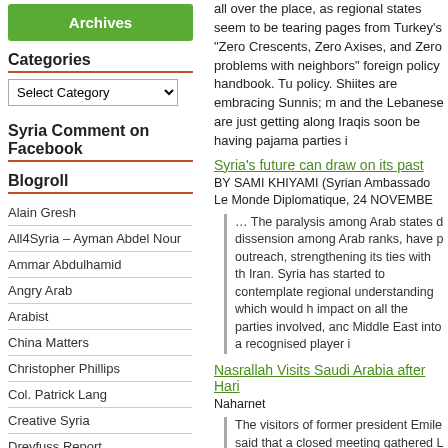[Figure (other): Green Archives button]
Categories
Select Category dropdown
Syria Comment on Facebook
Blogroll
Alain Gresh
All4Syria – Ayman Abdel Nour
Ammar Abdulhamid
Angry Arab
Arabist
China Matters
Christopher Phillips
Col. Patrick Lang
Creative Syria
Dreyfuss Report
Enduring America – Lucas et. al.
Focus on Syria (humanitarian)
all over the place, as regional states seem to be tearing pages from Turkey's "Zero Crescents, Zero Axises, and Zero problems with neighbors" foreign policy handbook. Tu policy. Shiites are embracing Sunnis; m and the Lebanese are just getting along Iraqis soon be having pajama parties i
Syria's future can draw on its past
BY SAMI KHIYAMI (Syrian Ambassado Le Monde Diplomatique, 24 NOVEMBE
… The paralysis among Arab states d dissension among Arab ranks, have p outreach, strengthening its ties with th Iran. Syria has started to contemplate regional understanding which would h impact on all the parties involved, anc Middle East into a recognised player i
Nasrallah Visits Saudi Arabia after Hari Naharnet
The visitors of former president Emile said that a closed meeting gathered L Assad, for 45 minutes, in which they c